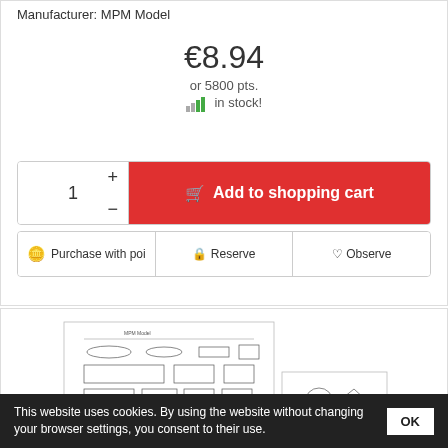Manufacturer: MPM Model
€8.94
or 5800 pts.
in stock!
1
Add to shopping cart
Purchase with poi
Reserve
Observe
[Figure (illustration): Technical parts sheet showing model components outlines and shapes, two sheets visible with various labeled parts]
This website uses cookies. By using the website without changing your browser settings, you consent to their use.
OK